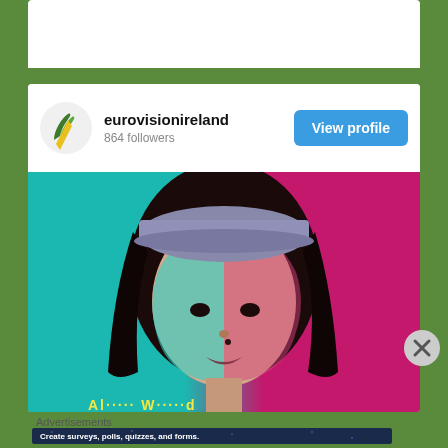[Figure (screenshot): Instagram profile widget for eurovisionireland with 864 followers and a View profile button, showing a photo of a person with long dark hair lit with teal and magenta split lighting, wearing a cap]
eurovisionireland
864 followers
View profile
Advertisements
[Figure (screenshot): Advertisement banner with dark navy background and stars reading: Create surveys, polls, quizzes, and forms. WordPress and Crown logo visible.]